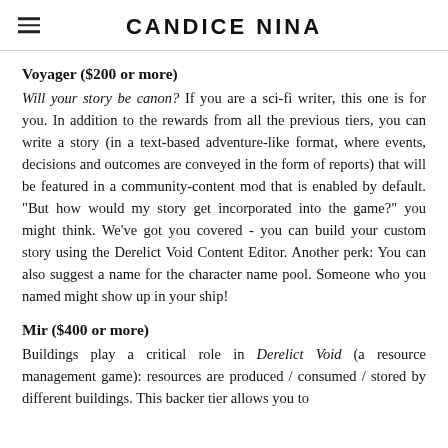CANDICE NINA
Voyager ($200 or more)
Will your story be canon? If you are a sci-fi writer, this one is for you. In addition to the rewards from all the previous tiers, you can write a story (in a text-based adventure-like format, where events, decisions and outcomes are conveyed in the form of reports) that will be featured in a community-content mod that is enabled by default. "But how would my story get incorporated into the game?" you might think. We've got you covered - you can build your custom story using the Derelict Void Content Editor. Another perk: You can also suggest a name for the character name pool. Someone who you named might show up in your ship!
Mir ($400 or more)
Buildings play a critical role in Derelict Void (a resource management game): resources are produced / consumed / stored by different buildings. This backer tier allows you to